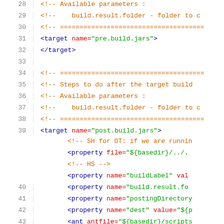[Figure (screenshot): XML/Ant build file source code with line numbers 28-45, showing syntax-highlighted XML with comments, target elements, and property elements.]